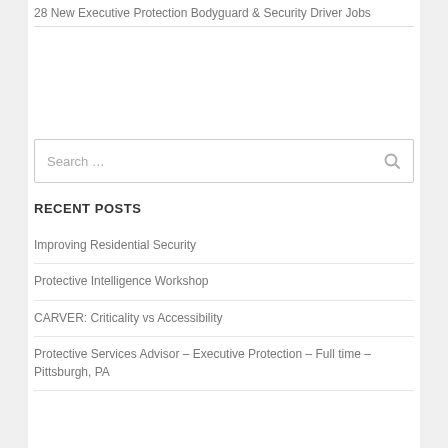28 New Executive Protection Bodyguard & Security Driver Jobs
[Figure (other): Advertisement or empty space area]
Search …
RECENT POSTS
Improving Residential Security
Protective Intelligence Workshop
CARVER: Criticality vs Accessibility
Protective Services Advisor – Executive Protection – Full time – Pittsburgh, PA